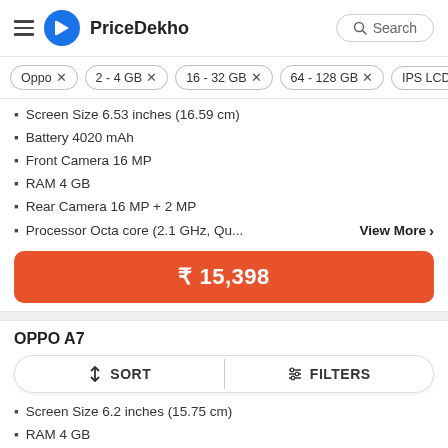PriceDekho
Oppo ×
2 - 4 GB ×
16 - 32 GB ×
64 - 128 GB ×
IPS LCD
Screen Size 6.53 inches (16.59 cm)
Battery 4020 mAh
Front Camera 16 MP
RAM 4 GB
Rear Camera 16 MP + 2 MP
Processor Octa core (2.1 GHz, Qu...
View More >
₹ 15,398
OPPO A7
↕ SORT   ⫿ FILTERS
Screen Size 6.2 inches (15.75 cm)
RAM 4 GB